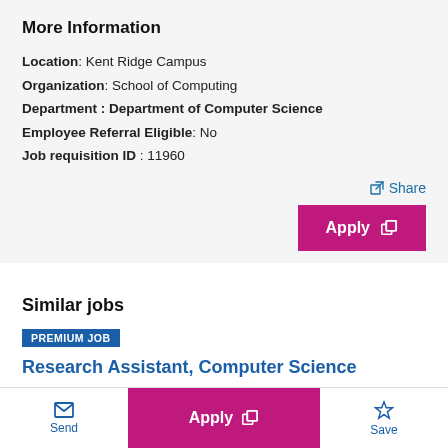More Information
Location: Kent Ridge Campus
Organization: School of Computing
Department : Department of Computer Science
Employee Referral Eligible: No
Job requisition ID : 11960
Share
Apply
Similar jobs
PREMIUM JOB
Research Assistant, Computer Science
Send
Apply
Save